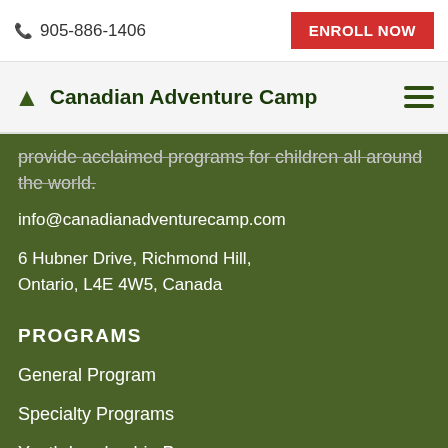905-886-1406   ENROLL NOW
Canadian Adventure Camp
provide acclaimed programs for children all around the world.
info@canadianadventurecamp.com
6 Hubner Drive, Richmond Hill, Ontario, L4E 4W5, Canada
PROGRAMS
General Program
Specialty Programs
Youth Leadership Program
Date & Rates